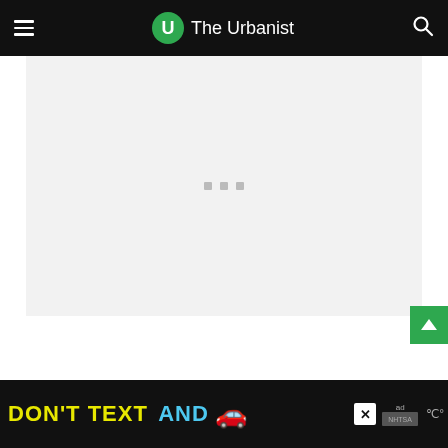The Urbanist
steady.
[Figure (other): Embedded media loading placeholder with three dots indicator, light gray background]
[Figure (other): Advertisement banner: DON'T TEXT AND [car emoji] NHTSA ad with close button, dark background]